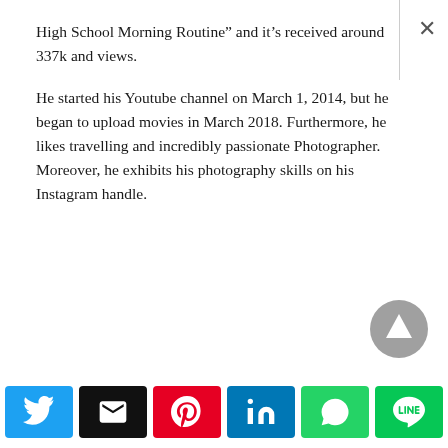High School Morning Routine” and it’s received around 337k and views.
He started his Youtube channel on March 1, 2014, but he began to upload movies in March 2018. Furthermore, he likes travelling and incredibly passionate Photographer. Moreover, he exhibits his photography skills on his Instagram handle.
[Figure (other): Scroll-to-top circular button with upward triangle arrow, gray]
[Figure (other): Social share bar with Twitter, Email, Pinterest, LinkedIn, WhatsApp, and LINE buttons]